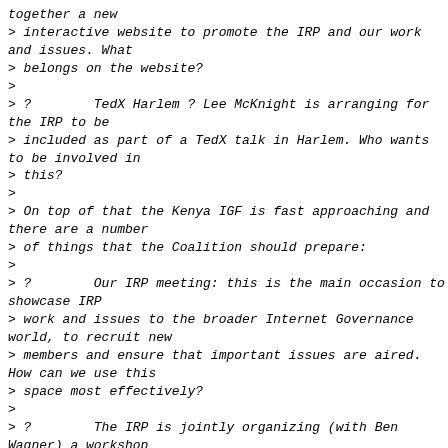together a new
> interactive website to promote the IRP and our work and issues. What
> belongs on the website?
>
> ?        TedX Harlem ? Lee McKnight is arranging for the IRP to be
> included as part of a TedX talk in Harlem. Who wants to be involved in
> this?
>
> On top of that the Kenya IGF is fast approaching and there are a number
> of things that the Coalition should prepare:
>
> ?        Our IRP meeting: this is the main occasion to showcase IRP
> work and issues to the broader Internet Governance world, to recruit new
> members and ensure that important issues are aired. How can we use this
> space most effectively?
>
> ?        The IRP is jointly organizing (with Ben Wagner) a workshop
> looking at the export of surveillance technologies. The idea is that the
> Charter will be a framing device for thinking about how to address a
> concrete real human rights issue ? and to think about